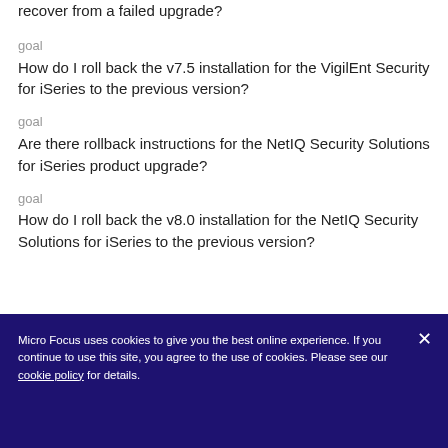recover from a failed upgrade?
goal
How do I roll back the v7.5 installation for the VigilEnt Security for iSeries to the previous version?
goal
Are there rollback instructions for the NetIQ Security Solutions for iSeries product upgrade?
goal
How do I roll back the v8.0 installation for the NetIQ Security Solutions for iSeries to the previous version?
Micro Focus uses cookies to give you the best online experience. If you continue to use this site, you agree to the use of cookies. Please see our cookie policy for details.